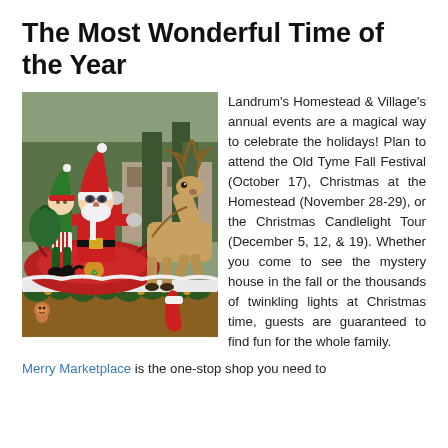The Most Wonderful Time of the Year
[Figure (photo): Santa Claus in a red sleigh with a reindeer, accompanied by an elf, during a Christmas parade or festival. The sleigh is decorated with Christmas greenery and gold ornaments.]
Landrum's Homestead & Village's annual events are a magical way to celebrate the holidays! Plan to attend the Old Tyme Fall Festival (October 17), Christmas at the Homestead (November 28-29), or the Christmas Candlelight Tour (December 5, 12, & 19). Whether you come to see the mystery house in the fall or the thousands of twinkling lights at Christmas time, guests are guaranteed to find fun for the whole family.
Merry Marketplace is the one-stop shop you need to